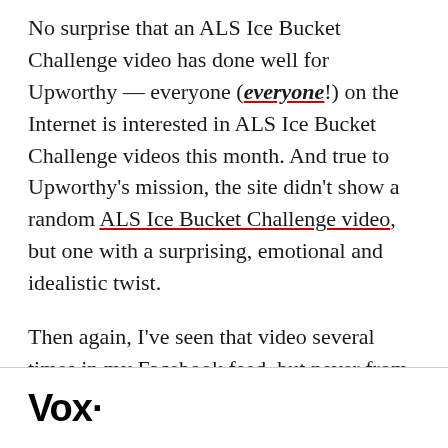No surprise that an ALS Ice Bucket Challenge video has done well for Upworthy — everyone (everyone!) on the Internet is interested in ALS Ice Bucket Challenge videos this month. And true to Upworthy's mission, the site didn't show a random ALS Ice Bucket Challenge video, but one with a surprising, emotional and idealistic twist.
Then again, I've seen that video several times in my Facebook feed, but never from Upworthy. The last two times I've seen it were from Huffington Post and something called QPolitical, which appears to be one of many bare-bones sites which exists solely for the purpose of republishing viral clips. (See the
Vox